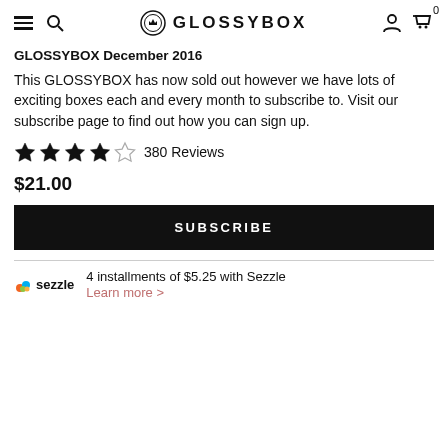GLOSSYBOX
GLOSSYBOX December 2016
This GLOSSYBOX has now sold out however we have lots of exciting boxes each and every month to subscribe to. Visit our subscribe page to find out how you can sign up.
★★★★☆ 380 Reviews
$21.00
SUBSCRIBE
4 installments of $5.25 with Sezzle
Learn more >